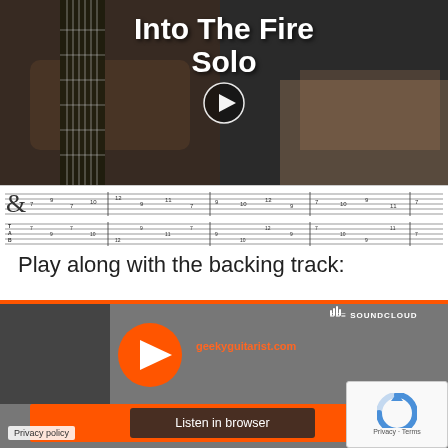[Figure (screenshot): Video thumbnail showing guitar player with overlay text 'Into The Fire Solo' and a play button, followed by sheet music/tablature]
Play along with the backing track:
[Figure (screenshot): SoundCloud embedded player with orange play button, URL geekyguitarist.com, Play on SoundCloud button, Listen in browser button, and Privacy policy link]